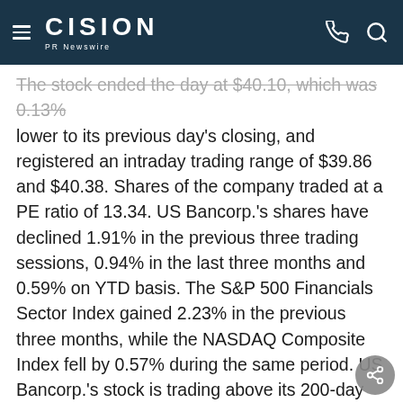CISION PR Newswire
The stock ended the day at $40.10, which was 0.13% lower to its previous day's closing, and registered an intraday trading range of $39.86 and $40.38. Shares of the company traded at a PE ratio of 13.34. US Bancorp.'s shares have declined 1.91% in the previous three trading sessions, 0.94% in the last three months and 0.59% on YTD basis. The S&P 500 Financials Sector Index gained 2.23% in the previous three months, while the NASDAQ Composite Index fell by 0.57% during the same period. US Bancorp.'s stock is trading above its 200-day moving average of $39.09. Furthermore, shares of the company have an RSI of 37.48. Sign up today to read free research on USB